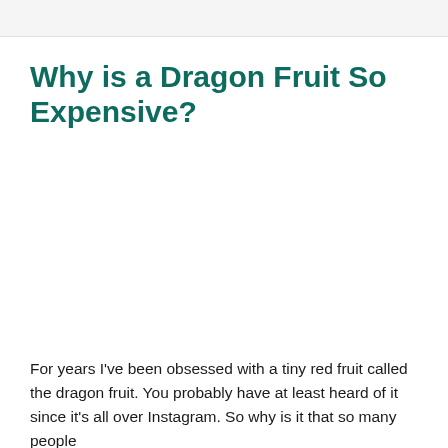Why is a Dragon Fruit So Expensive?
[Figure (photo): Image placeholder area (photo of dragon fruit, not visible in this crop)]
For years I've been obsessed with a tiny red fruit called the dragon fruit. You probably have at least heard of it since it's all over Instagram. So why is it that so many people…